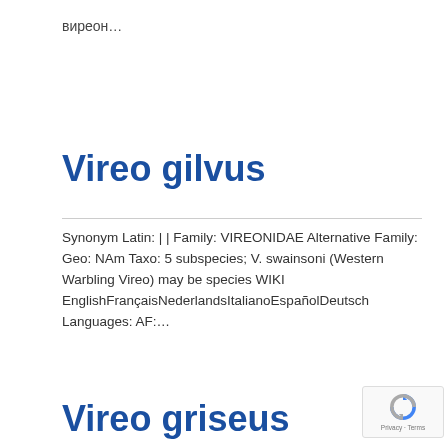виреон…
Vireo gilvus
Synonym Latin: | | Family: VIREONIDAE Alternative Family: Geo: NAm Taxo: 5 subspecies; V. swainsoni (Western Warbling Vireo) may be species WIKI EnglishFrançaisNederlandsItalianoEspañolDeutsch Languages: AF:…
Vireo griseus